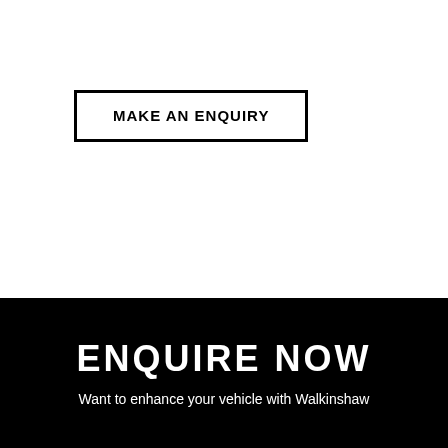MAKE AN ENQUIRY
ENQUIRE NOW
Want to enhance your vehicle with Walkinshaw